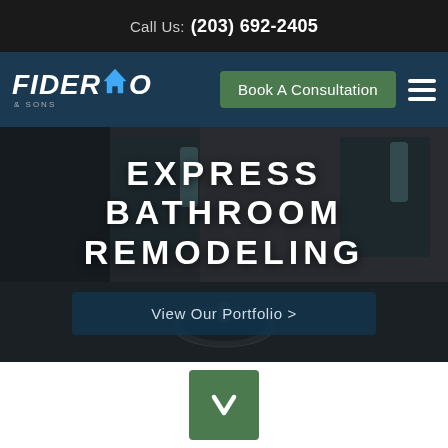Call Us: (203) 692-2405
[Figure (logo): Fiderio & Sons logo with house icon in dark teal navigation bar, alongside Book A Consultation green button and hamburger menu]
[Figure (photo): Bathroom remodeling hero image with dark overlay showing bathroom interior with sink and fixtures]
EXPRESS BATHROOM REMODELING
View Our Portfolio >
[Figure (other): Green downward arrow button]